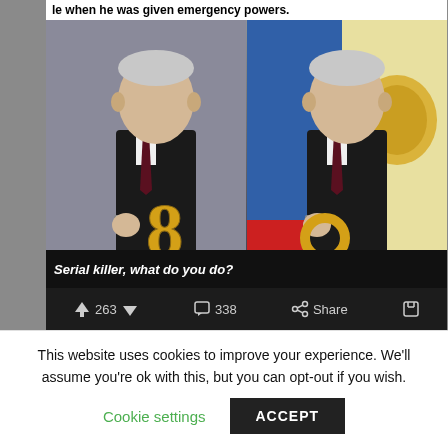[Figure (screenshot): Screenshot of a social media post showing a meme/composite image of a man in a dark suit holding a gold '8' (left panel) and what appears to be a ring (right panel, with Russian official backdrop). Text at top reads 'le when he was given emergency powers.' Bottom shows italic caption text and action bar with upvote 263, comment 338, Share buttons.]
This website uses cookies to improve your experience. We'll assume you're ok with this, but you can opt-out if you wish.
Cookie settings
ACCEPT